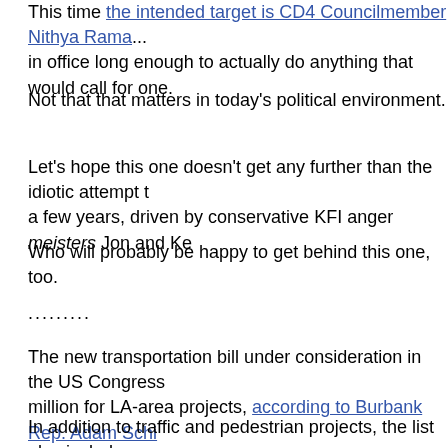This time the intended target is CD4 Councilmember Nithya Rama... in office long enough to actually do anything that would call for one.
Not that that matters in today's political environment.
Let's hope this one doesn't get any further than the idiotic attempt t... a few years, driven by conservative KFI anger meisters Jon and Ke...
Who will probably be happy to get behind this one, too.
.........
The new transportation bill under consideration in the US Congress... million for LA-area projects, according to Burbank Rep. Adam Schi...
In addition to traffic and pedestrian projects, the list also includes s... Glendale, and pedestrian and bicycle safety improvements on Mel... Hollywood.
That last one could have connected with a Complete Streets make... Los Angeles, if it hadn't been summarily and singlehandedly killed ... Councilmember and pseudo-environmentalist Paul Koretz.